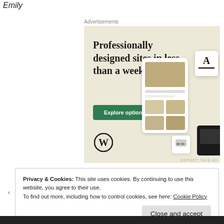Emily
Advertisements
[Figure (illustration): WordPress advertisement banner with beige background. Large serif text reads 'Professionally designed sites in less than a week'. A green button labeled 'Explore options' is below. Decorative UI screenshots of a food website and WordPress/plugin icons are shown on the right. WordPress logo (W in circle) at bottom left. Small icon card at bottom right.]
REPORT THIS AD
Privacy & Cookies: This site uses cookies. By continuing to use this website, you agree to their use.
To find out more, including how to control cookies, see here: Cookie Policy
Close and accept